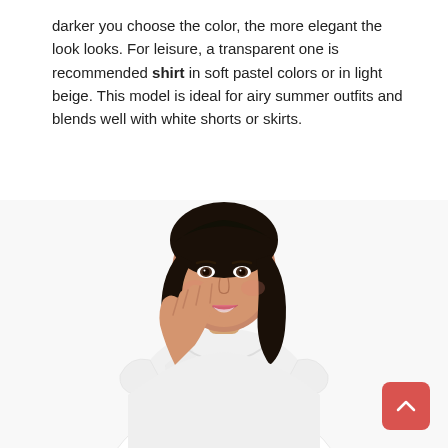darker you choose the color, the more elegant the look looks. For leisure, a transparent one is recommended shirt in soft pastel colors or in light beige. This model is ideal for airy summer outfits and blends well with white shorts or skirts.
[Figure (photo): A young woman with dark shoulder-length hair, smiling, wearing a white fitted short-sleeve scoop-neck t-shirt, photographed against a white background. Her right hand is raised near her chin.]